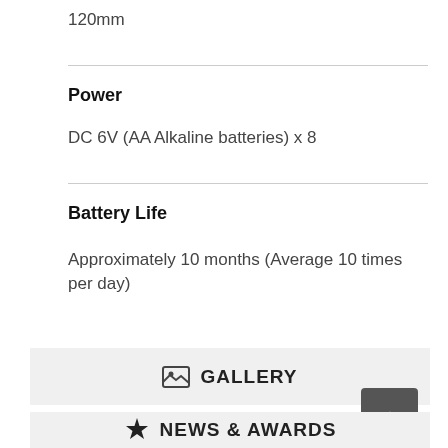120mm
Power
DC 6V (AA Alkaline batteries) x 8
Battery Life
Approximately 10 months (Average 10 times per day)
[Figure (other): GALLERY button with image icon]
[Figure (other): Scroll to top arrow button (dark grey)]
[Figure (other): NEWS & AWARDS button with badge icon]